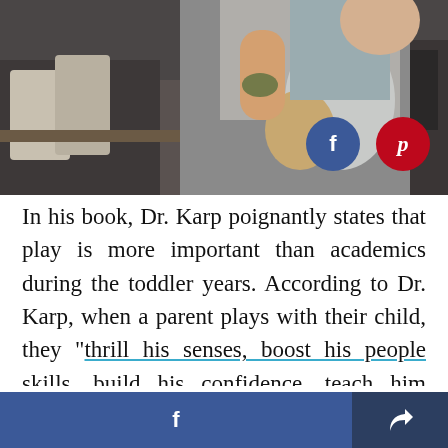[Figure (photo): A parent holding a child upside down playfully in a kitchen setting. Parent has a tattoo on their arm. Social share buttons (Facebook blue circle, Pinterest red circle) overlay the bottom-right of the photo.]
In his book, Dr. Karp poignantly states that play is more important than academics during the toddler years. According to Dr. Karp, when a parent plays with their child, they "thrill his senses, boost his people skills, build his confidence, teach him about the world, and on